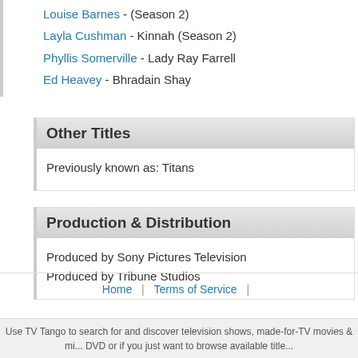Louise Barnes - (Season 2)
Layla Cushman - Kinnah (Season 2)
Phyllis Somerville - Lady Ray Farrell
Ed Heavey - Bhradain Shay
Other Titles
Previously known as: Titans
Production & Distribution
Produced by Sony Pictures Television
Produced by Tribune Studios
Home | Terms of Service |
Use TV Tango to search for and discover television shows, made-for-TV movies & mi... DVD or if you just want to browse available title...